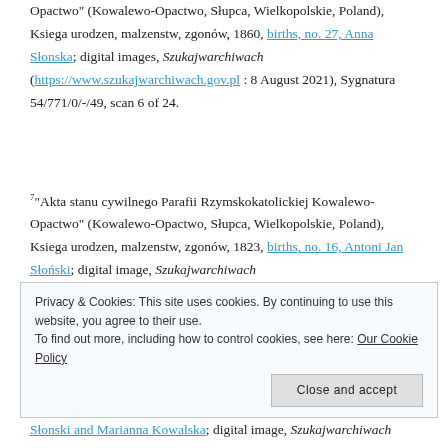Opactwo" (Kowalewo-Opactwo, Słupca, Wielkopolskie, Poland), Ksiega urodzen, malzenstw, zgonów, 1860, births, no. 27, Anna Słonska; digital images, Szukajwarchiwach (https://www.szukajwarchiwach.gov.pl : 8 August 2021), Sygnatura 54/771/0/-/49, scan 6 of 24.
7 "Akta stanu cywilnego Parafii Rzymskokatolickiej Kowalewo-Opactwo" (Kowalewo-Opactwo, Słupca, Wielkopolskie, Poland), Ksiega urodzen, malzenstw, zgonów, 1823, births, no. 16, Antoni Jan Słoński; digital image, Szukajwarchiwach (https://www.szukajwarchiwach.gov.pl/ : 8 August 2021), Sygnatura 54/771/0/-/13, scan 4 of 25.
Privacy & Cookies: This site uses cookies. By continuing to use this website, you agree to their use. To find out more, including how to control cookies, see here: Our Cookie Policy
Słonski and Marianna Kowalska; digital image, Szukajwarchiwach